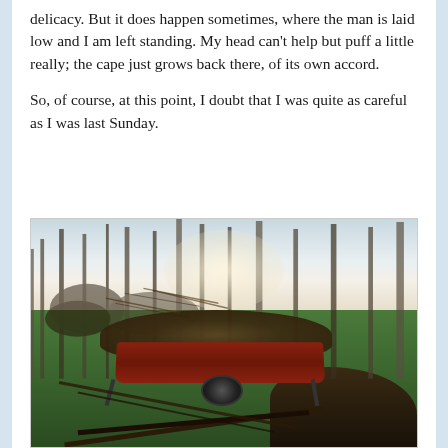delicacy. But it does happen sometimes, where the man is laid low and I am left standing. My head can't help but puff a little really; the cape just grows back there, of its own accord.

So, of course, at this point, I doubt that I was quite as careful as I was last Sunday.
[Figure (photo): Outdoor garden scene showing a red wheelbarrow loaded with a large pile of brush/twigs/branches, sitting on green grass. Behind the wheelbarrow are bare trees and shrubs in a misty, overcast winter day. To the right of the wheelbarrow is a dark dirt patch. Two long handles extend to the left.]